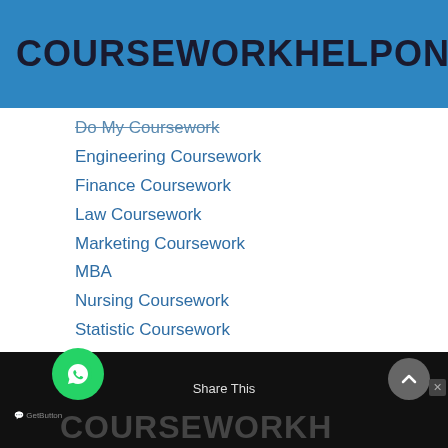COURSEWORKHELPONLINE.XYZ
Do My Coursework
Engineering Coursework
Finance Coursework
Law Coursework
Marketing Coursework
MBA
Nursing Coursework
Statistic Coursework
Share This | COURSEWORKHELPONLINE.XYZ